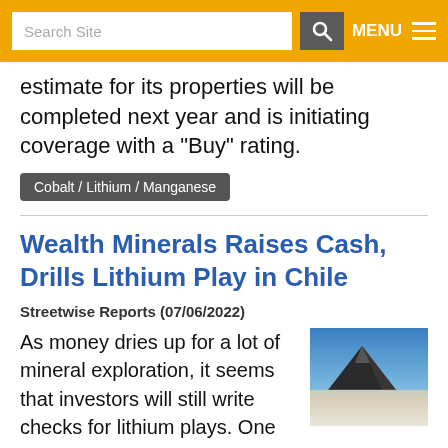Search Site | MENU
estimate for its properties will be completed next year and is initiating coverage with a "Buy" rating.
Cobalt / Lithium / Manganese
Wealth Minerals Raises Cash, Drills Lithium Play in Chile
Streetwise Reports  (07/06/2022)
[Figure (photo): Landscape photo of a volcanic mountain/hill with a salt flat or dry lake bed in the foreground, set against a blue sky — likely the Atacama region of Chile.]
As money dries up for a lot of mineral exploration, it seems that investors will still write checks for lithium plays. One junior with two lithium projects in Chile recently raised over $3 million — and the investors approached the company.